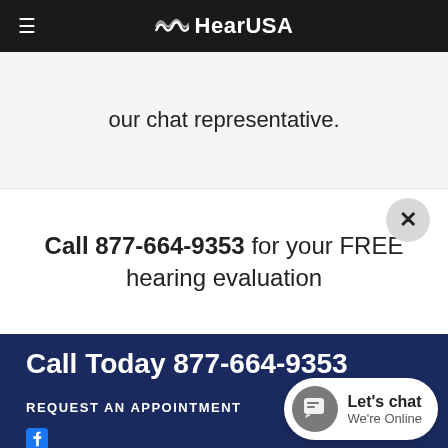HearUSA
our chat representative.
Call 877-664-9353 for your FREE hearing evaluation
Call Today 877-664-9353
REQUEST AN APPOINTMENT
[Figure (screenshot): Live chat widget showing 'Let's chat / We're Online']